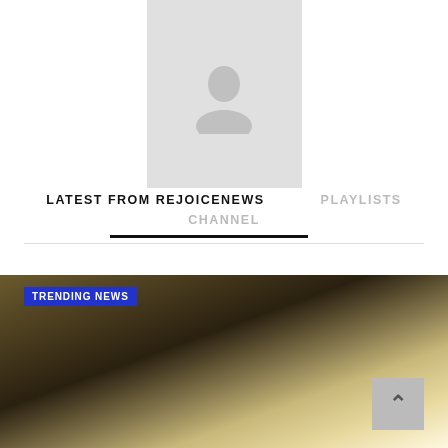[Figure (illustration): Gray placeholder avatar box with a generic person/user silhouette icon centered inside]
LATEST FROM REJOICENEWS
PLAYLISTS
CHANNEL
[Figure (photo): Dark blurry photo showing an interior ceiling/room scene with light streaks, with a blue TRENDING NEWS badge overlay in the top-left corner and a gray scroll-to-top button in the bottom-right corner]